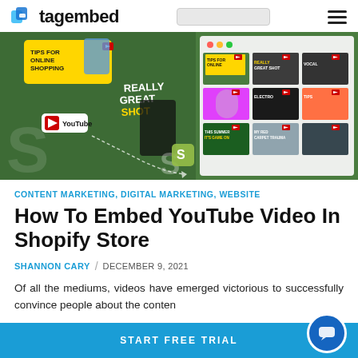tagembed
[Figure (screenshot): Hero banner showing a YouTube embed in a Shopify store with a green background, YouTube logo, Shopify S logo, and a grid of video thumbnails on the right side.]
CONTENT MARKETING, DIGITAL MARKETING, WEBSITE
How To Embed YouTube Video In Shopify Store
SHANNON CARY / DECEMBER 9, 2021
Of all the mediums, videos have emerged victorious to successfully convince people about the content
START FREE TRIAL